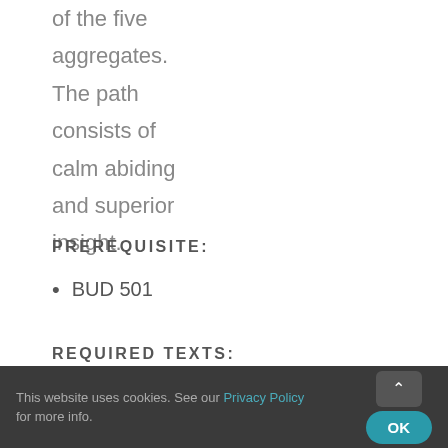of the five aggregates. The path consists of calm abiding and superior insight.
PREREQUISITE:
BUD 501
REQUIRED TEXTS:
This website uses cookies. See our Privacy Policy for more info.